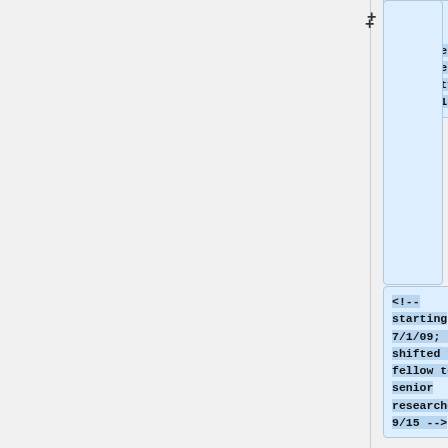d.edu/ Berkman Klein Center for Internet & Society], 2009-2015.
<!-- starting 7/1/09; I shifted from fellow to senior researcher 9/15 -->
** Visiting Fellow at the [https://law.yale.edu/isp Information...